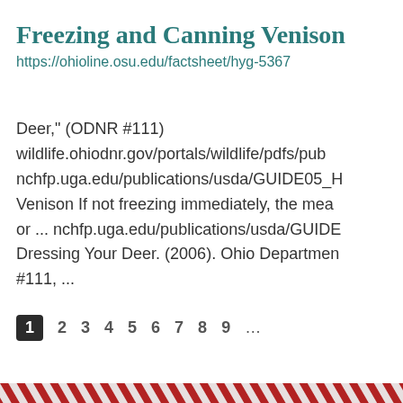Freezing and Canning Venison
https://ohioline.osu.edu/factsheet/hyg-5367
Deer," (ODNR #111) wildlife.ohiodnr.gov/portals/wildlife/pdfs/pub nchfp.uga.edu/publications/usda/GUIDE05_H Venison If not freezing immediately, the meat or ... nchfp.uga.edu/publications/usda/GUIDE Dressing Your Deer. (2006). Ohio Department #111, ...
1 2 3 4 5 6 7 8 9 ...